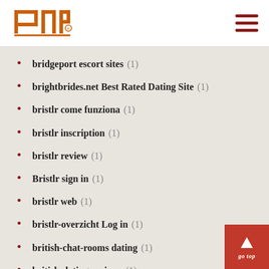INP logo and navigation menu
bridgeport escort sites (1)
brightbrides.net Best Rated Dating Site (1)
bristlr come funziona (1)
bristlr inscription (1)
bristlr review (1)
Bristlr sign in (1)
bristlr web (1)
bristlr-overzicht Log in (1)
british-chat-rooms dating (1)
british-dating reviews (1)
broken-arrow escort directory (1)